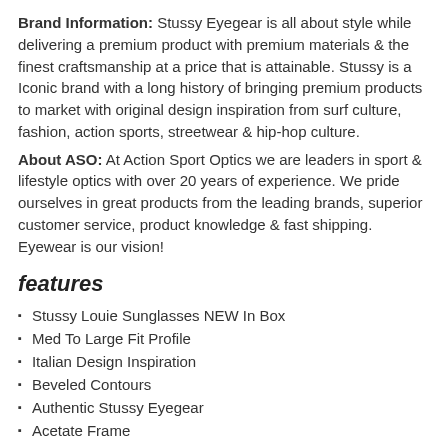Brand Information: Stussy Eyegear is all about style while delivering a premium product with premium materials & the finest craftsmanship at a price that is attainable. Stussy is a Iconic brand with a long history of bringing premium products to market with original design inspiration from surf culture, fashion, action sports, streetwear & hip-hop culture.
About ASO: At Action Sport Optics we are leaders in sport & lifestyle optics with over 20 years of experience. We pride ourselves in great products from the leading brands, superior customer service, product knowledge & fast shipping. Eyewear is our vision!
features
Stussy Louie Sunglasses NEW In Box
Med To Large Fit Profile
Italian Design Inspiration
Beveled Contours
Authentic Stussy Eyegear
Acetate Frame
5 Barrel Optical Hinges
Wire Core
Premium Mineral Glass Lens
100% UVA UVB UVC Protection